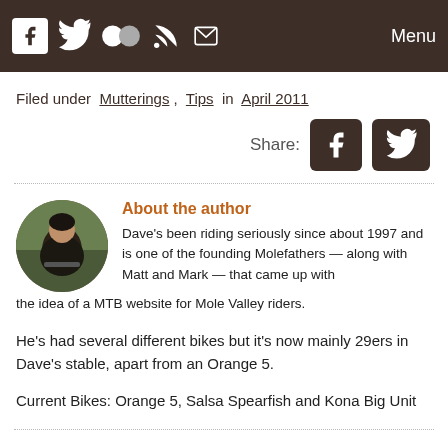Menu
Filed under Mutterings, Tips in April 2011
[Figure (other): Share icons for Facebook and Twitter]
[Figure (photo): Circular author photo of Dave on a bike]
About the author
Dave's been riding seriously since about 1997 and is one of the founding Molefathers — along with Matt and Mark — that came up with the idea of a MTB website for Mole Valley riders.
He's had several different bikes but it's now mainly 29ers in Dave's stable, apart from an Orange 5.
Current Bikes: Orange 5, Salsa Spearfish and Kona Big Unit